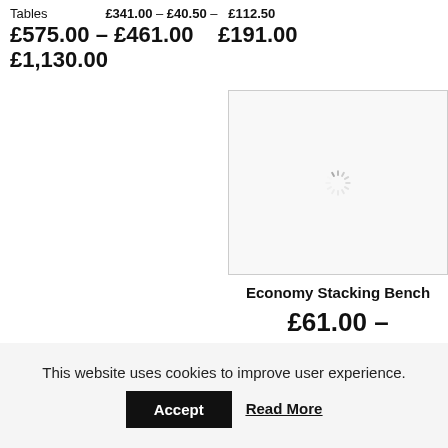Tables £341.00 – £40.50 – £112.50 £575.00 – £461.00 £191.00 £1,130.00
[Figure (screenshot): Product image placeholder with loading spinner for Economy Stacking Bench]
Economy Stacking Bench
£61.00 – £78.00
This website uses cookies to improve user experience.
Accept   Read More